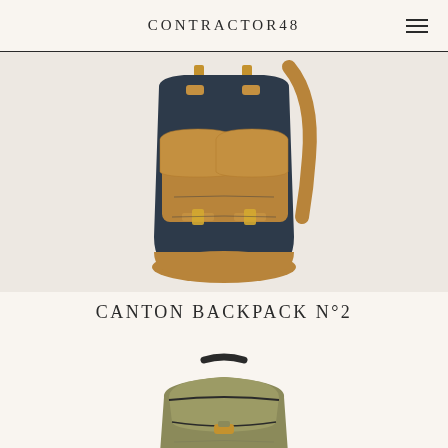CONTRACTOR48
[Figure (photo): Navy blue and tan leather backpack with two front pockets, gold buckles, and a leather shoulder strap, photographed from the front on a light background.]
CANTON BACKPACK N°2
[Figure (photo): Olive/khaki colored backpack with black trim and handle, partially visible at bottom of page.]